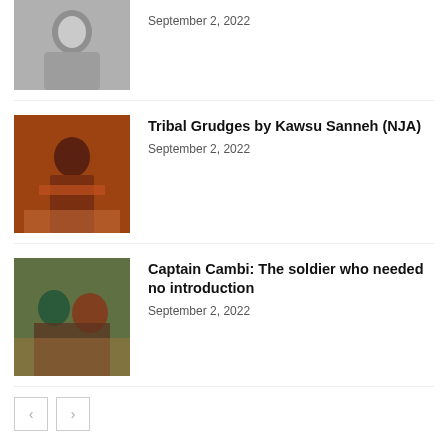[Figure (photo): Black and white photo of a woman, partially cropped at top]
September 2, 2022
[Figure (photo): Color photo of a man speaking at a podium/microphone with crowd in background]
Tribal Grudges by Kawsu Sanneh (NJA)
September 2, 2022
[Figure (photo): Color photo of two people in traditional attire seated]
Captain Cambi: The soldier who needed no introduction
September 2, 2022